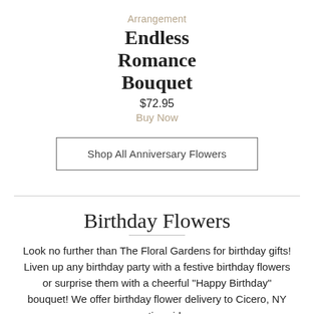Arrangement
Endless Romance Bouquet
$72.95
Buy Now
Shop All Anniversary Flowers
Birthday Flowers
Look no further than The Floral Gardens for birthday gifts! Liven up any birthday party with a festive birthday flowers or surprise them with a cheerful "Happy Birthday" bouquet! We offer birthday flower delivery to Cicero, NY or nationwide.